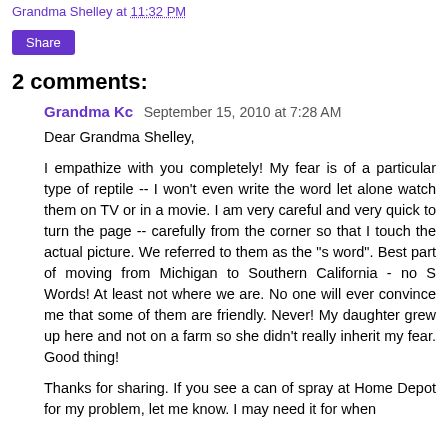Grandma Shelley at 11:32 PM
Share
2 comments:
Grandma Kc  September 15, 2010 at 7:28 AM
Dear Grandma Shelley,

I empathize with you completely! My fear is of a particular type of reptile -- I won't even write the word let alone watch them on TV or in a movie. I am very careful and very quick to turn the page -- carefully from the corner so that I touch the actual picture. We referred to them as the "s word". Best part of moving from Michigan to Southern California - no S Words! At least not where we are. No one will ever convince me that some of them are friendly. Never! My daughter grew up here and not on a farm so she didn't really inherit my fear. Good thing!

Thanks for sharing. If you see a can of spray at Home Depot for my problem, let me know. I may need it for when